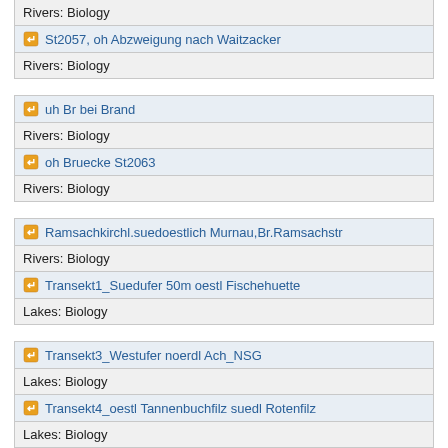Rivers: Biology
St2057, oh Abzweigung nach Waitzacker
Rivers: Biology
uh Br bei Brand
Rivers: Biology
oh Bruecke St2063
Rivers: Biology
Ramsachkirchl.suedoestlich Murnau,Br.Ramsachstr
Rivers: Biology
Transekt1_Suedufer 50m oestl Fischehuette
Lakes: Biology
Transekt3_Westufer noerdl Ach_NSG
Lakes: Biology
Transekt4_oestl Tannenbuchfilz suedl Rotenfilz
Lakes: Biology